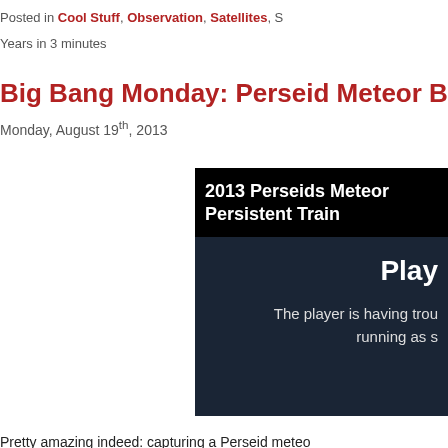Posted in Cool Stuff, Observation, Satellites, S
Years in 3 minutes
Big Bang Monday: Perseid Meteor B
Monday, August 19th, 2013
[Figure (screenshot): Video player screenshot showing '2013 Perseids Meteor Persistent Train' with a dark background, 'Play' label and error message 'The player is having trouble running as s']
Pretty amazing indeed: capturing a Perseid meteo
Personally, I've never seen anything like thi